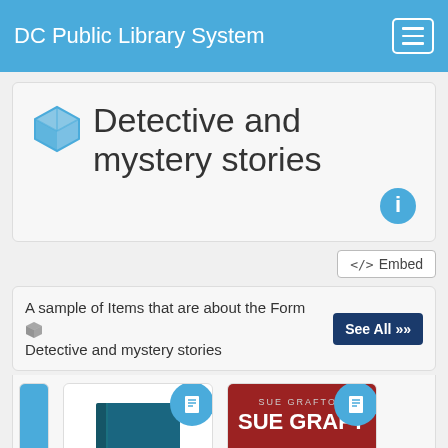DC Public Library System
Detective and mystery stories
A sample of Items that are about the Form Detective and mystery stories
[Figure (screenshot): Book carousel showing DC Public Library System items: a partially visible blue cover, a generic book icon with badge, and a Sue Grafton 'H Is For Homicide' cover with badge. Navigation arrows on left and right.]